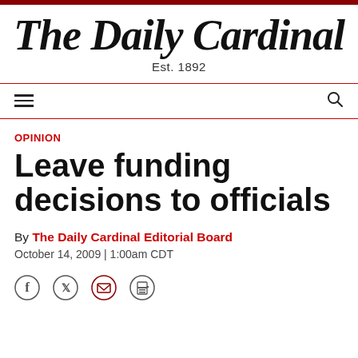The Daily Cardinal — Est. 1892
OPINION
Leave funding decisions to officials
By The Daily Cardinal Editorial Board
October 14, 2009 | 1:00am CDT